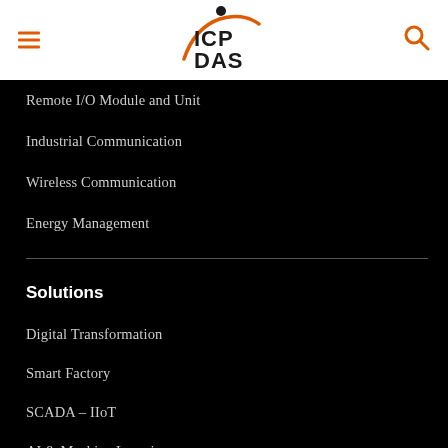[Figure (logo): ICP DAS logo with orange swoosh arc and dot above the letters ICP DAS in bold black text]
Remote I/O Module and Unit
Industrial Communication
Wireless Communication
Energy Management
Solutions
Digital Transformation
Smart Factory
SCADA – IIoT
AI & Machine Learning
Robotics & Automation
Technology